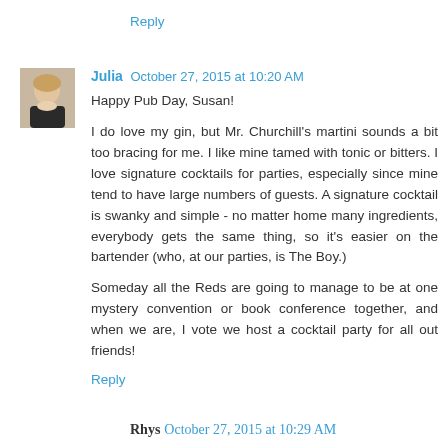Reply
[Figure (photo): Avatar photo of Julia, a woman with blonde hair.]
Julia October 27, 2015 at 10:20 AM
Happy Pub Day, Susan!

I do love my gin, but Mr. Churchill's martini sounds a bit too bracing for me. I like mine tamed with tonic or bitters. I love signature cocktails for parties, especially since mine tend to have large numbers of guests. A signature cocktail is swanky and simple - no matter home many ingredients, everybody gets the same thing, so it's easier on the bartender (who, at our parties, is The Boy.)

Someday all the Reds are going to manage to be at one mystery convention or book conference together, and when we are, I vote we host a cocktail party for all out friends!
Reply
Rhys October 27, 2015 at 10:29 AM